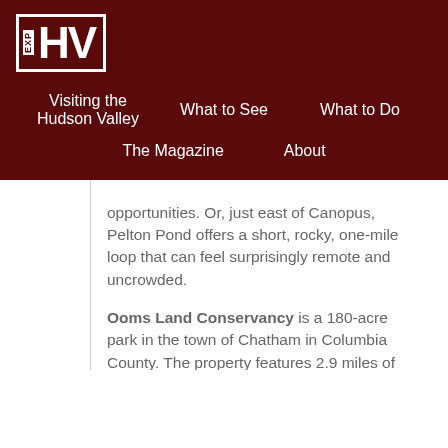[Figure (logo): EXP HV logo — white box with dark red background, letters EXP vertical on left and HV large on right]
Visiting the Hudson Valley   What to See   What to Do   The Magazine   About
opportunities. Or, just east of Canopus, Pelton Pond offers a short, rocky, one-mile loop that can feel surprisingly remote and uncrowded.
Ooms Land Conservancy is a 180-acre park in the town of Chatham in Columbia County. The property features 2.9 miles of hiking trails that loop around the 35-acre Sutherland Pond. From a gazebo at the high point of the park, you can look out west at the Catskill